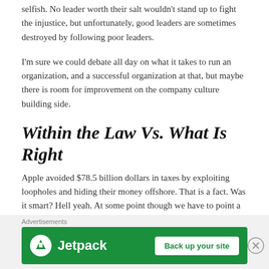selfish. No leader worth their salt wouldn't stand up to fight the injustice, but unfortunately, good leaders are sometimes destroyed by following poor leaders.
I'm sure we could debate all day on what it takes to run an organization, and a successful organization at that, but maybe there is room for improvement on the company culture building side.
Within the Law Vs. What Is Right
Apple avoided $78.5 billion dollars in taxes by exploiting loopholes and hiding their money offshore. That is a fact. Was it smart? Hell yeah. At some point though we have to point a finger to organizations and ask if they are doing the right thing. Maybe
Advertisements
[Figure (other): Jetpack advertisement banner with green background, Jetpack logo and 'Back up your site' button]